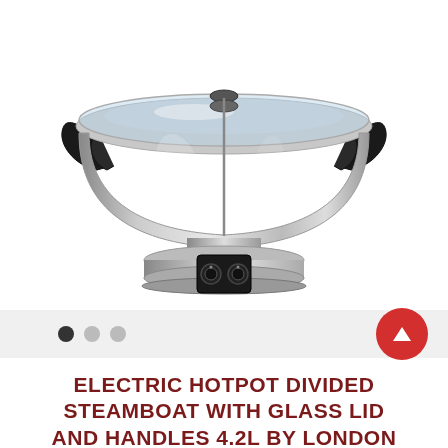[Figure (photo): Electric hotpot divided steamboat with glass lid and black handles, stainless steel body with pedestal base and black control panel at front with two dial knobs]
● ○ ○  (image carousel navigation dots)
ELECTRIC HOTPOT DIVIDED STEAMBOAT WITH GLASS LID AND HANDLES 4.2L BY LONDON